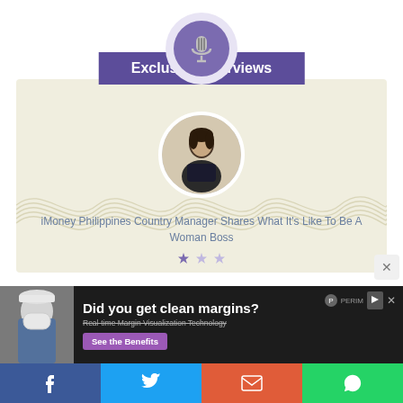[Figure (logo): Microphone icon in purple circle with light lavender outer ring, above purple ribbon banner]
Exclusive Interviews
[Figure (photo): Circular portrait photo of a woman in a dark outfit in an office setting]
iMoney Philippines Country Manager Shares What It's Like To Be A Woman Boss
[Figure (infographic): Advertisement banner: Did you get clean margins? Real-time Margin Visualization Technology. See the Benefits. Perimeter medical imaging logo.]
[Figure (illustration): Social share bar with Facebook, Twitter, Email, and WhatsApp buttons]